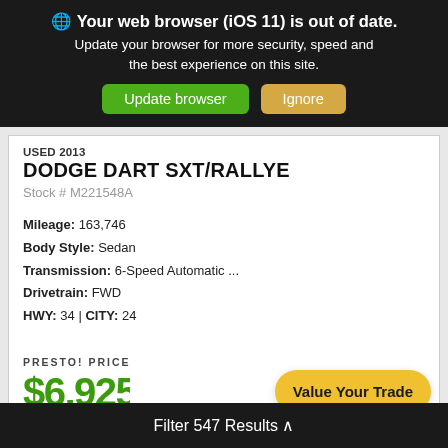🌐 Your web browser (iOS 11) is out of date. Update your browser for more security, speed and the best experience on this site.
Update browser | Ignore
USED 2013 DODGE DART SXT/RALLYE
Stock # M221548A
Mileage: 163,746 Body Style: Sedan Transmission: 6-Speed Automatic ... Drivetrain: FWD HWY: 34 | CITY: 24
PRESTO! PRICE $6,92... Value Your Trade
[Figure (logo): SHOW ME THE CARFAX logo]
Filter 547 Results ^